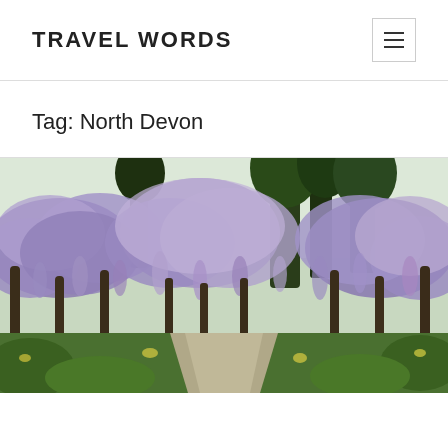TRAVEL WORDS
Tag: North Devon
[Figure (photo): A garden path lined with arching wisteria trees covered in purple blooms, with green trees and shrubs in the background.]